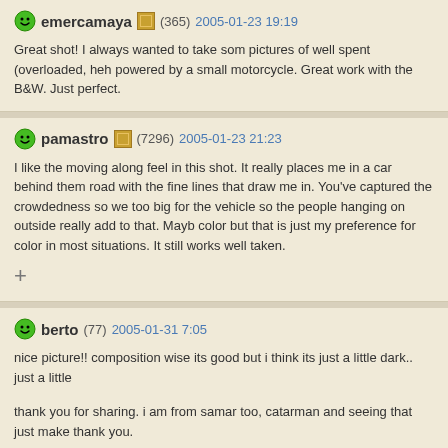emercamaya (365) 2005-01-23 19:19 — Great shot! I always wanted to take som pictures of well spent (overloaded, heh powered by a small motorcycle. Great work with the B&W. Just perfect.
pamastro (7296) 2005-01-23 21:23 — I like the moving along feel in this shot. It really places me in a car behind them road with the fine lines that draw me in. You've captured the crowdedness so we too big for the vehicle so the people hanging on outside really add to that. Mayb color but that is just my preference for color in most situations. It still works well taken.
berto (77) 2005-01-31 7:05 — nice picture!! composition wise its good but i think its just a little dark.. just a little — thank you for sharing. i am from samar too, catarman and seeing that just make thank you.